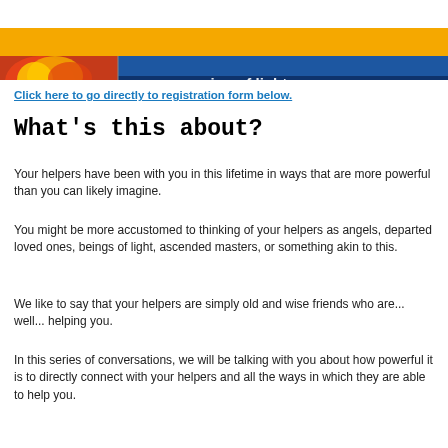[Figure (illustration): Top banner with orange bar, colorful flame/light image on left and blue ocean/sky background with partial text 'communion of light' on right]
Click here to go directly to registration form below.
What's this about?
Your helpers have been with you in this lifetime in ways that are more powerful than you can likely imagine.
You might be more accustomed to thinking of your helpers as angels, departed loved ones, beings of light, ascended masters, or something akin to this.
We like to say that your helpers are simply old and wise friends who are... well... helping you.
In this series of conversations, we will be talking with you about how powerful it is to directly connect with your helpers and all the ways in which they are able to help you.